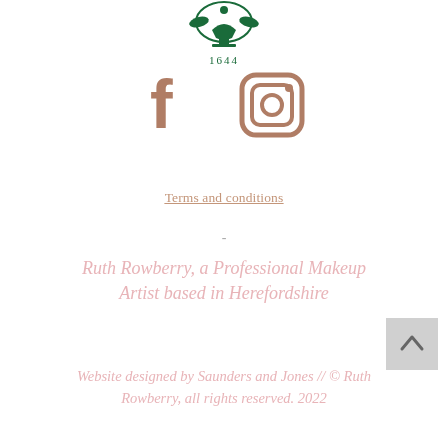[Figure (logo): Green heraldic crest logo with '1644' text beneath it]
[Figure (illustration): Social media icons: Facebook and Instagram in rose gold/bronze color]
Terms and conditions
-
Ruth Rowberry, a Professional Makeup Artist based in Herefordshire
Website designed by Saunders and Jones // © Ruth Rowberry, all rights reserved. 2022